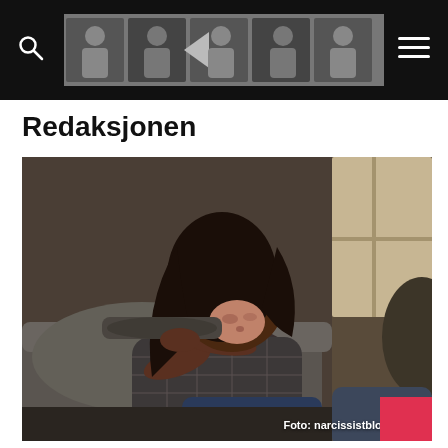Redaksjonen – narcissistblog.online
Redaksjonen
[Figure (photo): A young woman with dark hair resting her head on her arms on a sofa, looking sad or distressed, wearing a dark plaid shirt and jeans. Interior background with window light.]
Foto: narcissistblog.online